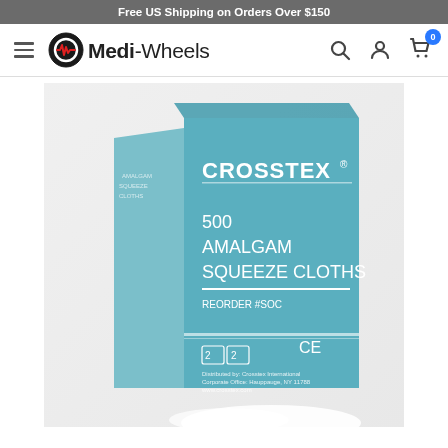Free US Shipping on Orders Over $150
[Figure (screenshot): Medi-Wheels e-commerce website navigation bar with hamburger menu, Medi-Wheels logo, search icon, account icon, and cart icon showing 0 items]
[Figure (photo): Product photo of Crosstex 500 Amalgam Squeeze Cloths blue box, Reorder #SOC, with CE marking and medical device symbols]